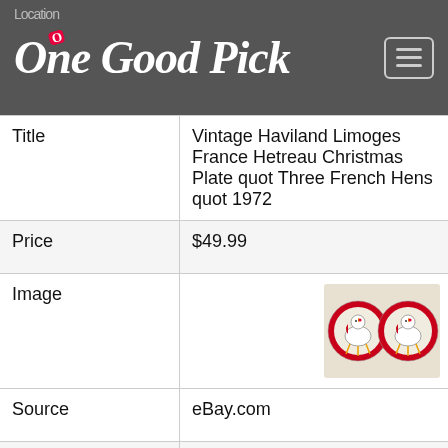One Good Pick
| Field | Value |
| --- | --- |
| Title | Vintage Haviland Limoges France Hetreau Christmas Plate quot Three French Hens quot 1972 |
| Price | $49.99 |
| Image | [plate image] |
| Source | eBay.com |
| Location | USA |
| Posted | 8/25/2022 |
| Title | Vintage Lot of 2 Chicken Scratch Ceramic Plates |